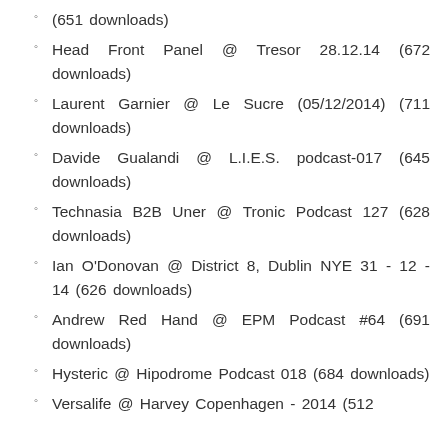(651 downloads)
Head Front Panel @ Tresor 28.12.14 (672 downloads)
Laurent Garnier @ Le Sucre (05/12/2014) (711 downloads)
Davide Gualandi @ L.I.E.S. podcast-017 (645 downloads)
Technasia B2B Uner @ Tronic Podcast 127 (628 downloads)
Ian O'Donovan @ District 8, Dublin NYE 31 - 12 - 14 (626 downloads)
Andrew Red Hand @ EPM Podcast #64 (691 downloads)
Hysteric @ Hipodrome Podcast 018 (684 downloads)
Versalife @ Harvey Copenhagen - 2014 (512 downloads)